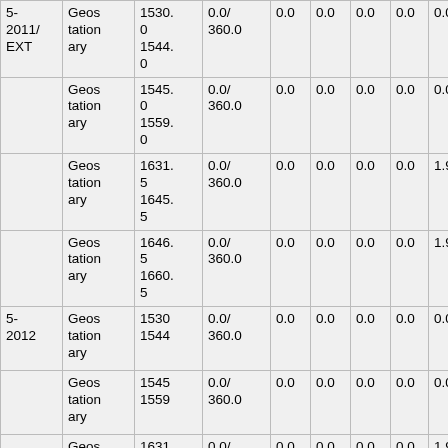| 5-2011/EXT | Geostationary | 1530.0
1544.0 | 0.0/
360.0 | 0.0 | 0.0 | 0.0 | 0.0 | 0.0 |
|  | Geostationary | 1545.0
1559.0 | 0.0/
360.0 | 0.0 | 0.0 | 0.0 | 0.0 | 0.0 |
|  | Geostationary | 1631.5
1645.5 | 0.0/
360.0 | 0.0 | 0.0 | 0.0 | 0.0 | 1.9 |
|  | Geostationary | 1646.5
1660.5 | 0.0/
360.0 | 0.0 | 0.0 | 0.0 | 0.0 | 1.9 |
| 5-2012 | Geostationary | 1530
1544 | 0.0/
360.0 | 0.0 | 0.0 | 0.0 | 0.0 | 0.0 |
|  | Geostationary | 1545
1559 | 0.0/
360.0 | 0.0 | 0.0 | 0.0 | 0.0 | 0.0 |
|  | Geostationary | 1631.5
1645. | 0.0/
360.0 | 0.0 | 0.0 | 0.0 | 0.0 | 1.9 |